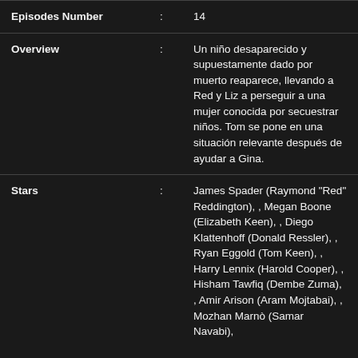| Field |  | Value |
| --- | --- | --- |
| Episodes Number | : | 14 |
| Overview | : | Un niño desaparecido y supuestamente dado por muerto reaparece, llevando a Red y Liz a perseguir a una mujer conocida por secuestrar niños. Tom se pone en una situación relevante después de ayudar a Gina. |
| Stars | : | James Spader (Raymond "Red" Reddington), , Megan Boone (Elizabeth Keen), , Diego Klattenhoff (Donald Ressler), , Ryan Eggold (Tom Keen), , Harry Lennix (Harold Cooper), , Hisham Tawfiq (Dembe Zuma), , Amir Arison (Aram Mojtabai), , Mozhan Marnò (Samar Navabi), |
Similar TV Series
[Figure (photo): Thumbnail images for similar TV series shows]